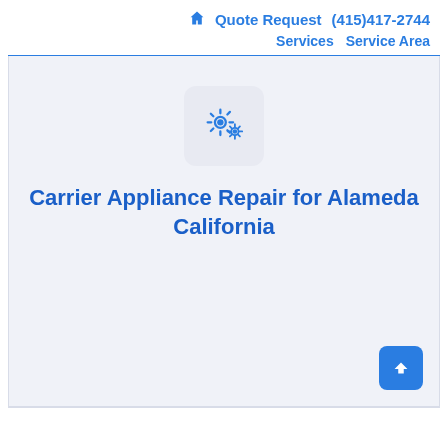🏠 Quote Request (415)417-2744 Services Service Area
[Figure (illustration): Two blue gear icons in a light gray rounded square box, representing appliance repair services]
Carrier Appliance Repair for Alameda California